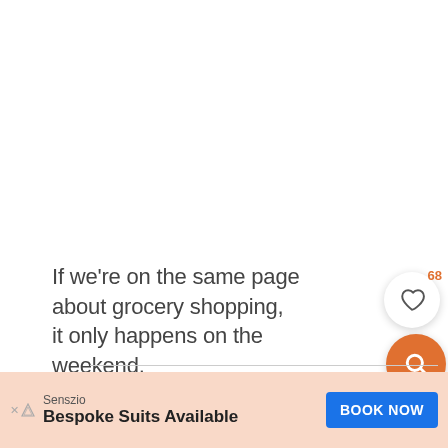If we're on the same page about grocery shopping, it only happens on the weekend.
MY LATEST VIDEOS
[Figure (screenshot): Dark video thumbnail placeholder]
Senszio
Bespoke Suits Available